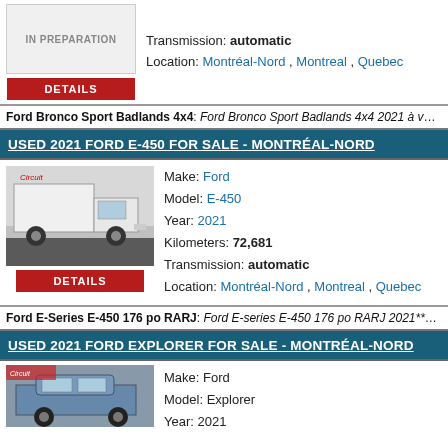Transmission: automatic
Location: Montréal-Nord , Montreal , Quebec
Ford Bronco Sport Badlands 4x4: Ford Bronco Sport Badlands 4x4 2021 à vendr TAG tracking ...
USED 2021 FORD E-450 FOR SALE - MONTRÉAL-NORD
[Figure (photo): Photo of a white Ford E-450 box truck]
Make: Ford
Model: E-450
Year: 2021
Kilometers: 72,681
Transmission: automatic
Location: Montréal-Nord , Montreal , Quebec
Ford E-Series E-450 176 po RARJ: Ford E-series E-450 176 po RARJ 2021**Boîte
USED 2021 FORD EXPLORER FOR SALE - MONTRÉAL-NORD
[Figure (photo): Photo of a blue Ford Explorer]
Make: Ford
Model: Explorer
Year: 2021